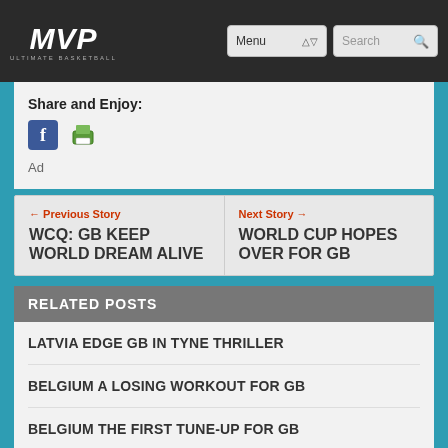MVP Ultimate Basketball — Menu | Search
Share and Enjoy:
[Figure (screenshot): Facebook share icon and print/share icon]
Ad
← Previous Story
WCQ: GB KEEP WORLD DREAM ALIVE
Next Story →
WORLD CUP HOPES OVER FOR GB
RELATED POSTS
LATVIA EDGE GB IN TYNE THRILLER
BELGIUM A LOSING WORKOUT FOR GB
BELGIUM THE FIRST TUNE-UP FOR GB